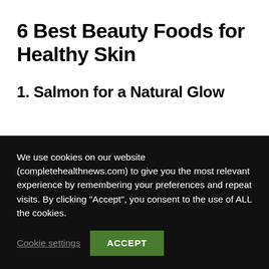6 Best Beauty Foods for Healthy Skin
1. Salmon for a Natural Glow
We use cookies on our website (completehealthnews.com) to give you the most relevant experience by remembering your preferences and repeat visits. By clicking “Accept”, you consent to the use of ALL the cookies.
Cookie settings | ACCEPT